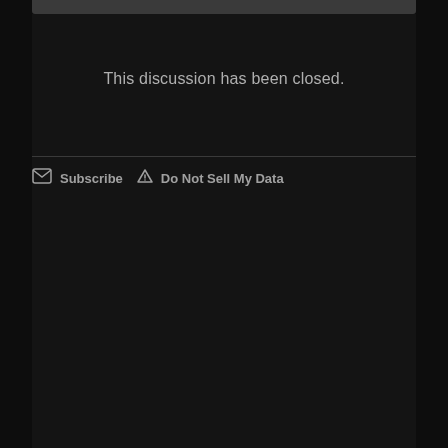This discussion has been closed.
Subscribe   Do Not Sell My Data